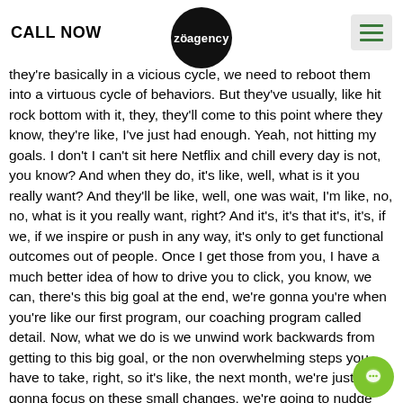CALL NOW | zöagency
they're basically in a vicious cycle, we need to reboot them into a virtuous cycle of behaviors. But they've usually, like hit rock bottom with it, they, they'll come to this point where they know, they're like, I've just had enough. Yeah, not hitting my goals. I don't I can't sit here Netflix and chill every day is not, you know? And when they do, it's like, well, what is it you really want? And they'll be like, well, one was wait, I'm like, no, no, what is it you really want, right? And it's, it's that it's, it's, if we, if we inspire or push in any way, it's only to get functional outcomes out of people. Once I get those from you, I have a much better idea of how to drive you to click, you know, we can, there's this big goal at the end, we're gonna you're when you're like our first program, our coaching program called detail. Now, what we do is we unwind work backwards from getting to this big goal, or the non overwhelming steps you have to take, right, so it's like, the next month, we're just gonna focus on these small changes, we're going to nudge you using the information you gave us. And we'll start creating mastery, and it just takes small incremental steps over time. And that's frustrating for most people in their health. And I will always just remind them like, Well, how did you get